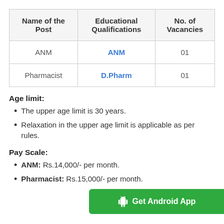| Name of the Post | Educational Qualifications | No. of Vacancies |
| --- | --- | --- |
| ANM | ANM | 01 |
| Pharmacist | D.Pharm | 01 |
Age limit:
The upper age limit is 30 years.
Relaxation in the upper age limit is applicable as per rules.
Pay Scale:
ANM: Rs.14,000/- per month.
Pharmacist: Rs.15,000/- per month.
[Figure (other): Green banner overlay: Get Android App button with Android robot icon]